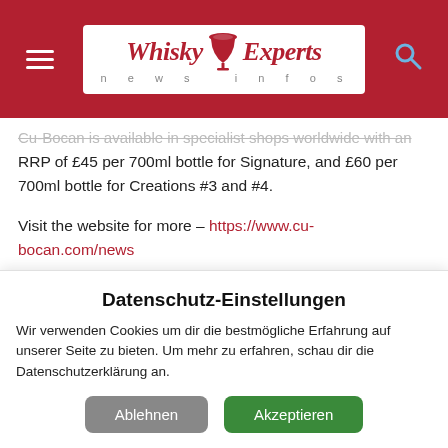Whisky Experts news infos
Cu-Bocan is available in specialist shops worldwide with an RRP of £45 per 700ml bottle for Signature, and £60 per 700ml bottle for Creations #3 and #4.
Visit the website for more – https://www.cu-bocan.com/news
[Figure (other): Row of partially visible red social media circles]
Datenschutz-Einstellungen
Wir verwenden Cookies um dir die bestmögliche Erfahrung auf unserer Seite zu bieten. Um mehr zu erfahren, schau dir die Datenschutzerklärung an.